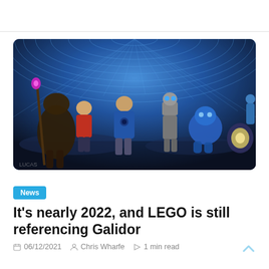[Figure (photo): Promotional photo of LEGO Galidor characters: a monster alien with a red-tipped staff on the left, a boy in red shirt, a teenager in blue Galidor suit center, a robot/cyborg character, a blue alien creature, and a glowing orb on the right, all posed against a sci-fi blue grid/dome background.]
News
It's nearly 2022, and LEGO is still referencing Galidor
06/12/2021  Chris Wharfe  1 min read